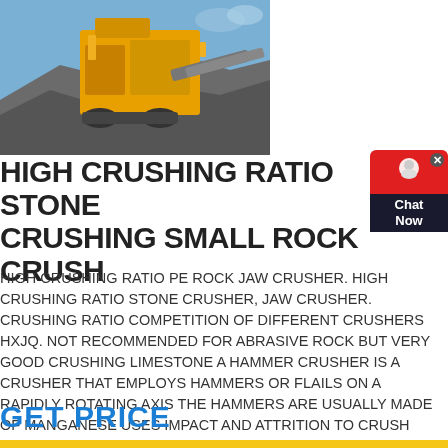[Figure (photo): Yellow mobile stone crusher/jaw crusher machine at a mining or quarry site with large piles of crushed rock/gravel in the foreground and blue sky in the background.]
HIGH CRUSHING RATIO STONE CRUSHING SMALL ROCK CRUSH
[Figure (other): Live chat widget with red top section showing a chat icon and a dark bottom section with 'Chat Now' text.]
HIGH CRUSHING RATIO PE ROCK JAW CRUSHER. HIGH CRUSHING RATIO STONE CRUSHER, JAW CRUSHER. CRUSHING RATIO COMPETITION OF DIFFERENT CRUSHERS HXJQ. NOT RECOMMENDED FOR ABRASIVE ROCK BUT VERY GOOD CRUSHING LIMESTONE A HAMMER CRUSHER IS A CRUSHER THAT EMPLOYS HAMMERS OR FLAILS ON A RAPIDLY ROTATING AXIS THE HAMMERS ARE USUALLY MADE OF MANGANESE USES IMPACT AND ATTRITION TO CRUSH MATERIAL
GET PRICE